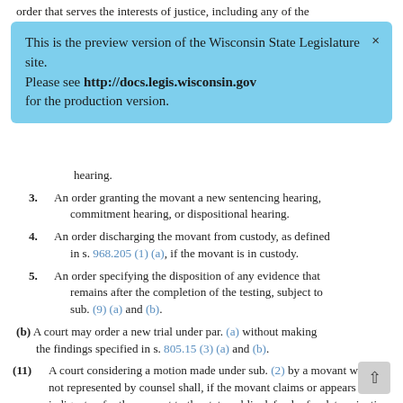order that serves the interests of justice, including any of the
[Figure (screenshot): Blue banner notification: 'This is the preview version of the Wisconsin State Legislature site. Please see http://docs.legis.wisconsin.gov for the production version.']
hearing.
3. An order granting the movant a new sentencing hearing, commitment hearing, or dispositional hearing.
4. An order discharging the movant from custody, as defined in s. 968.205 (1) (a), if the movant is in custody.
5. An order specifying the disposition of any evidence that remains after the completion of the testing, subject to sub. (9) (a) and (b).
(b) A court may order a new trial under par. (a) without making the findings specified in s. 805.15 (3) (a) and (b).
(11) A court considering a motion made under sub. (2) by a movant who is not represented by counsel shall, if the movant claims or appears to be indigent, refer the movant to the state public defender for determination of indigency and appointment of counsel under s. 977.05 (4) (j).
(12)
(a) The court may order a movant to pay the costs of any test ordered by the court under this section if the court